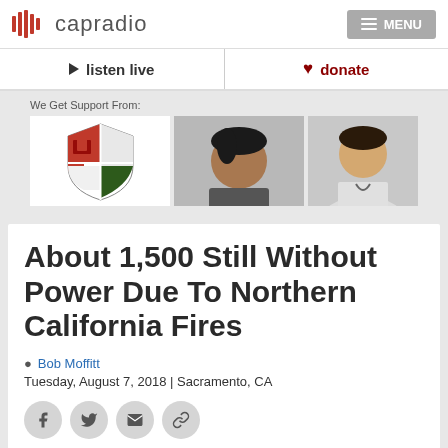capradio
listen live
donate
We Get Support From:
[Figure (photo): Sponsor banner with shield logo and two people photos]
About 1,500 Still Without Power Due To Northern California Fires
Bob Moffitt
Tuesday, August 7, 2018 | Sacramento, CA